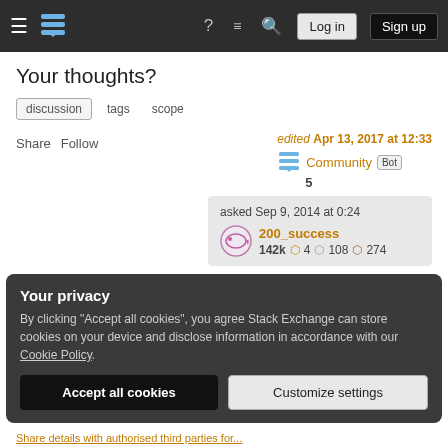Navigation bar with hamburger menu, Stack Exchange logo, help icon, chat icon, search icon, Log in button, Sign up button
Your thoughts?
discussion  tags  scope
Share  Follow
edited Apr 13, 2017 at 12:33
Community Bot
5
asked Sep 9, 2014 at 0:24
200_success
142k  4  108  274
Your privacy
By clicking "Accept all cookies", you agree Stack Exchange can store cookies on your device and disclose information in accordance with our Cookie Policy.
Accept all cookies    Customize settings
Share details with authorised third parties for...